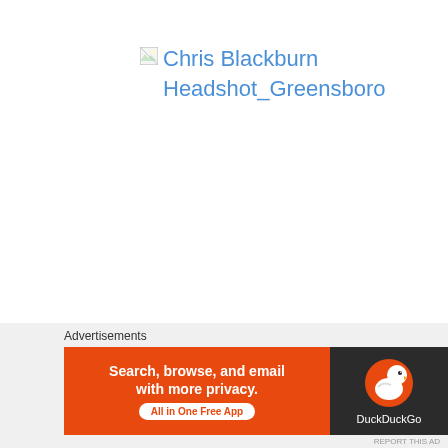[Figure (other): Broken image placeholder with alt text 'Chris Blackburn Headshot_Greensboro' displayed in blue link color]
Advertisements
[Figure (other): DuckDuckGo advertisement banner: orange left panel with text 'Search, browse, and email with more privacy. All in One Free App' and dark right panel with DuckDuckGo duck logo and brand name]